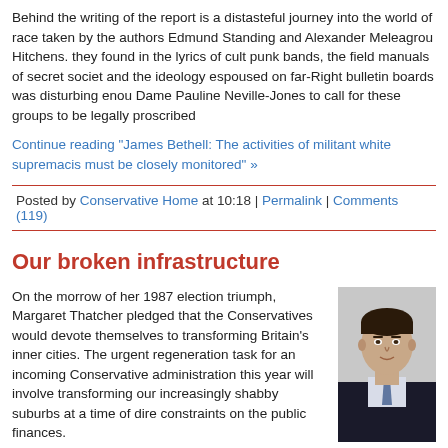Behind the writing of the report is a distasteful journey into the world of race taken by the authors Edmund Standing and Alexander Meleagrou Hitchens. they found in the lyrics of cult punk bands, the field manuals of secret socie and the ideology espoused on far-Right bulletin boards was disturbing enou Dame Pauline Neville-Jones to call for these groups to be legally proscribed
Continue reading "James Bethell: The activities of militant white supremacis must be closely monitored" »
Posted by Conservative Home at 10:18 | Permalink | Comments (119)
Our broken infrastructure
On the morrow of her 1987 election triumph, Margaret Thatcher pledged that the Conservatives would devote themselves to transforming Britain's inner cities. The urgent regeneration task for an incoming Conservative administration this year will involve transforming our increasingly shabby suburbs at a time of dire constraints on the public finances.
[Figure (photo): Headshot photo of a man in a dark suit and tie]
The regeneration of the centres of cities like Glasgow, Manchester, Liverpool and Manchester – to name but a few – has been one of the triumphs of the past twenty-five